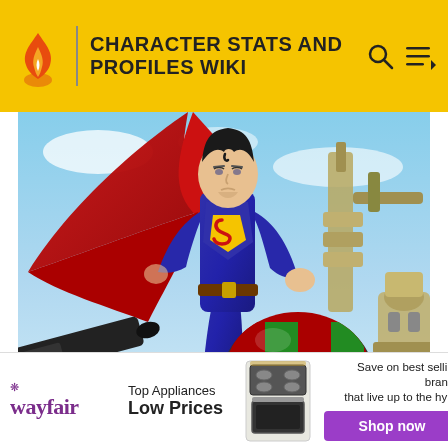CHARACTER STATS AND PROFILES WIKI
[Figure (illustration): Comic book style illustration of Superman in a blue and red costume with cape flowing, viewed from a low angle. Superman stands heroically while surrounding imagery shows weapons and colorful objects including a green and red checkered ball. The background shows a partly cloudy sky.]
[Figure (infographic): Wayfair advertisement banner. Wayfair logo on left, 'Top Appliances Low Prices' text in middle, appliance image, and 'Save on best selling brands that live up to the hype' with a purple 'Shop now' button on the right.]